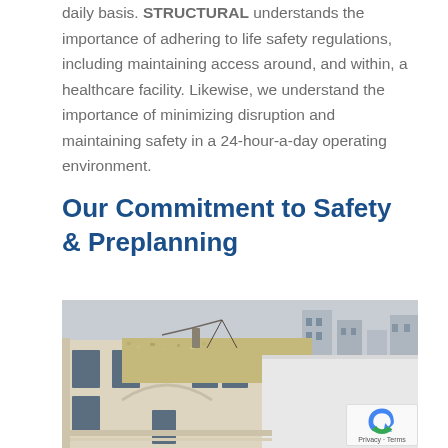daily basis. STRUCTURAL understands the importance of adhering to life safety regulations, including maintaining access around, and within, a healthcare facility. Likewise, we understand the importance of minimizing disruption and maintaining safety in a 24-hour-a-day operating environment.
Our Commitment to Safety & Preplanning
[Figure (photo): Aerial/rooftop view of a building under construction or renovation, showing a beige/cream-colored classical building facade with windows, a rooftop area with gravel and construction equipment, and a white flat-roof extension visible to the right.]